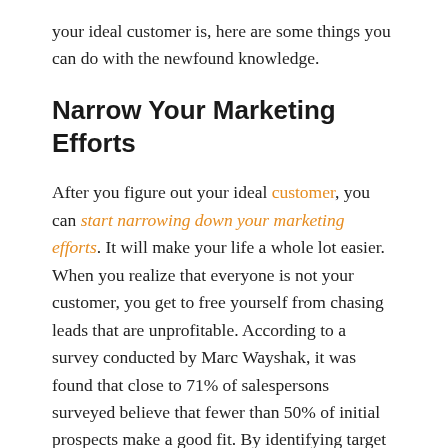your ideal customer is, here are some things you can do with the newfound knowledge.
Narrow Your Marketing Efforts
After you figure out your ideal customer, you can start narrowing down your marketing efforts. It will make your life a whole lot easier. When you realize that everyone is not your customer, you get to free yourself from chasing leads that are unprofitable. According to a survey conducted by Marc Wayshak, it was found that close to 71% of salespersons surveyed believe that fewer than 50% of initial prospects make a good fit. By identifying target